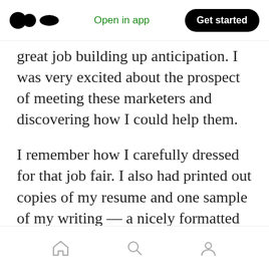Open in app | Get started
great job building up anticipation. I was very excited about the prospect of meeting these marketers and discovering how I could help them.
I remember how I carefully dressed for that job fair. I also had printed out copies of my resume and one sample of my writing — a nicely formatted case study.
The conference attendees received special instructions if this was their first time at the job fair. I couldn't wait to get inside the room and
Home | Search | Profile